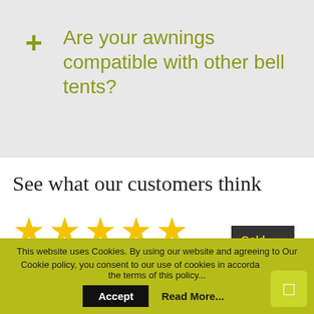+ Are your awnings compatible with other bell tents?
See what our customers think
[Figure (illustration): Five gold star rating icons displayed in a row]
[Figure (other): Gold Trusted Service Award badge with dark background]
This website uses Cookies. By using our website and agreeing to Our Cookie policy, you consent to our use of cookies in accordance with the terms of this policy...
Accept   Read More...